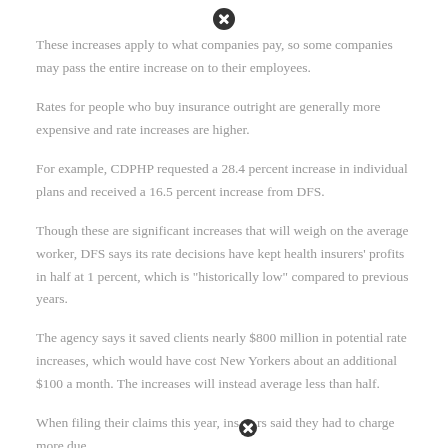[Figure (other): Close button / X icon circle at top center of page]
These increases apply to what companies pay, so some companies may pass the entire increase on to their employees.
Rates for people who buy insurance outright are generally more expensive and rate increases are higher.
For example, CDPHP requested a 28.4 percent increase in individual plans and received a 16.5 percent increase from DFS.
Though these are significant increases that will weigh on the average worker, DFS says its rate decisions have kept health insurers' profits in half at 1 percent, which is "historically low" compared to previous years.
The agency says it saved clients nearly $800 million in potential rate increases, which would have cost New Yorkers about an additional $100 a month. The increases will instead average less than half.
When filing their claims this year, insurers said they had to charge more due
[Figure (other): Close button / X icon circle inline within last text paragraph]